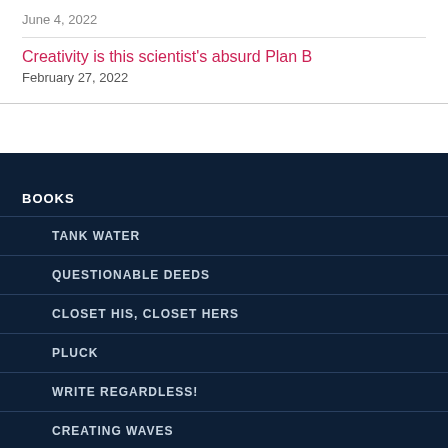June 4, 2022
Creativity is this scientist's absurd Plan B
February 27, 2022
BOOKS
TANK WATER
QUESTIONABLE DEEDS
CLOSET HIS, CLOSET HERS
PLUCK
WRITE REGARDLESS!
CREATING WAVES